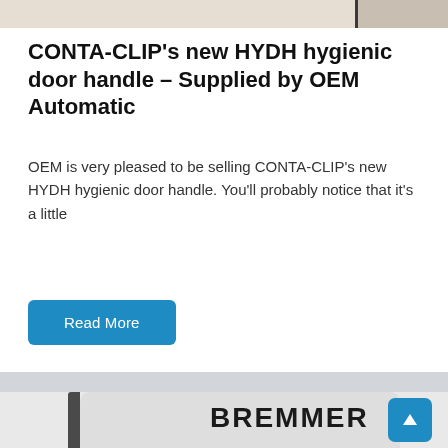[Figure (photo): Partial top strip showing a wooden/textured surface with a dark vertical element on the right side — appears to be a cropped product photo at the top of the page.]
CONTA-CLIP's new HYDH hygienic door handle – Supplied by OEM Automatic
OEM is very pleased to be selling CONTA-CLIP's new HYDH hygienic door handle. You'll probably notice that it's a little
Read More
[Figure (photo): Close-up photo of a white Bremmer-branded device/dispenser showing the BREMMER logo in large black bold text on the front face, with a dark left edge visible.]